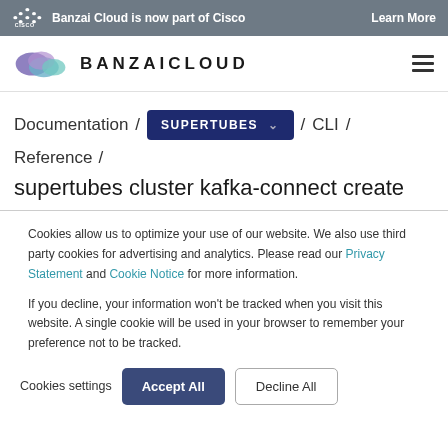Banzai Cloud is now part of Cisco   Learn More
[Figure (logo): Banzai Cloud logo with abstract overlapping colored circles and BANZAICLOUD wordmark]
Documentation / SUPERTUBES / CLI / Reference / supertubes cluster kafka-connect create
Cookies allow us to optimize your use of our website. We also use third party cookies for advertising and analytics. Please read our Privacy Statement and Cookie Notice for more information.

If you decline, your information won't be tracked when you visit this website. A single cookie will be used in your browser to remember your preference not to be tracked.
Cookies settings
Accept All
Decline All